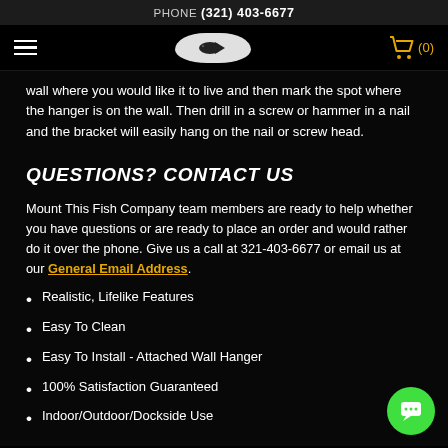PHONE (321) 403-6677
[Figure (other): Navigation bar with hamburger menu, fish logo badge, and shopping cart icon showing (0)]
wall where you would like it to live and then mark the spot where the hanger is on the wall. Then drill in a screw or hammer in a nail and the bracket will easily hang on the nail or screw head.
QUESTIONS? CONTACT US
Mount This Fish Company team members are ready to help whether you have questions or are ready to place an order and would rather do it over the phone. Give us a call at 321-403-6677 or email us at our General Email Address.
Realistic, Lifelike Features
Easy To Clean
Easy To Install - Attached Wall Hanger
100% Satisfaction Guaranteed
Indoor/Outdoor/Dockside Use